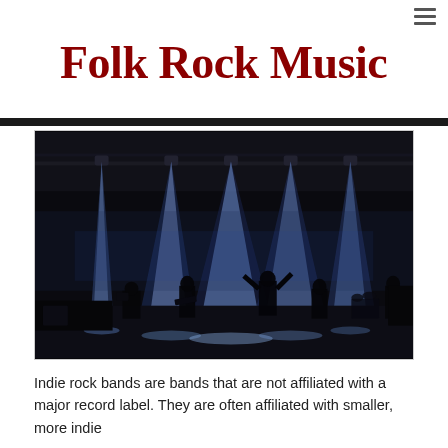≡
Folk Rock Music
[Figure (photo): Concert stage photo showing silhouettes of band members performing on stage with bright blue and white spotlights shining down from above, creating dramatic lighting effects with fog or haze on a dark stage.]
Indie rock bands are bands that are not affiliated with a major record label. They are often affiliated with smaller, more indie